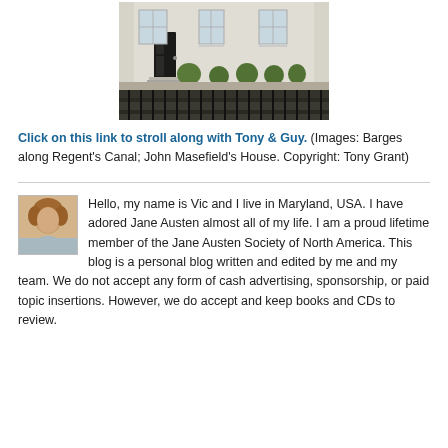[Figure (photo): Photograph of John Masefield's House with iron fence in foreground, white/cream Georgian building with black door and topiary bushes]
Click on this link to stroll along with Tony & Guy. (Images: Barges along Regent's Canal; John Masefield's House. Copyright: Tony Grant)
[Figure (photo): Small avatar portrait photo of Vic, a person with curly hair]
Hello, my name is Vic and I live in Maryland, USA. I have adored Jane Austen almost all of my life. I am a proud lifetime member of the Jane Austen Society of North America. This blog is a personal blog written and edited by me and my team. We do not accept any form of cash advertising, sponsorship, or paid topic insertions. However, we do accept and keep books and CDs to review.